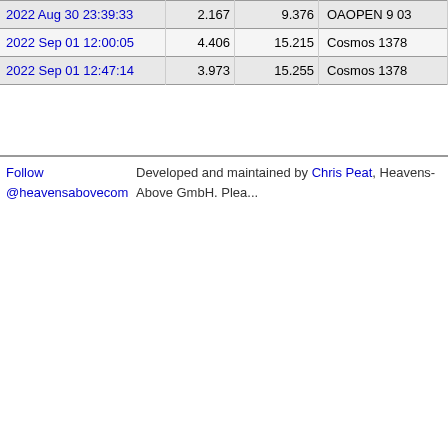| 2022 Aug 30 23:39:33 | 2.167 | 9.376 | OAOPEN 9 03 |
| 2022 Sep 01 12:00:05 | 4.406 | 15.215 | Cosmos 1378 |
| 2022 Sep 01 12:47:14 | 3.973 | 15.255 | Cosmos 1378 |
Follow @heavensabovecom  Developed and maintained by Chris Peat, Heavens-Above GmbH. Plea...